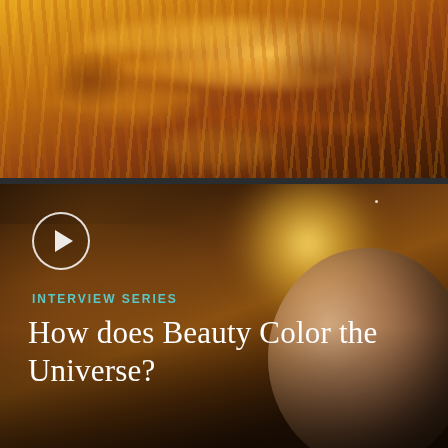[Figure (photo): Close-up image of the sun's surface showing fiery orange, red, and golden textures with solar flares and magnetic field lines]
[Figure (photo): Space scene showing a bright star/sun glowing in upper right with warm yellow-orange light, a large reddish-brown planet in the lower right, set against a dark cosmic background with amber and orange nebula tones. A play button icon is overlaid in the upper left.]
INTERVIEW SERIES
How does Beauty Color the Universe?